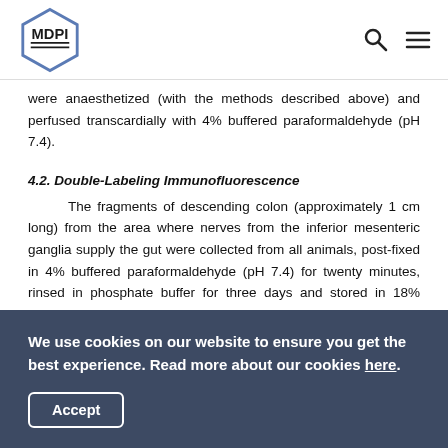MDPI
were anaesthetized (with the methods described above) and perfused transcardially with 4% buffered paraformaldehyde (pH 7.4).
4.2. Double-Labeling Immunofluorescence
The fragments of descending colon (approximately 1 cm long) from the area where nerves from the inferior mesenteric ganglia supply the gut were collected from all animals, post-fixed in 4% buffered paraformaldehyde (pH 7.4) for twenty minutes, rinsed in phosphate buffer for three days and stored in 18% sucrose (at +4 °C). After at least two weeks, samples were frozen at −20 °C and cut into 14 μm-thick cryostat sections,
We use cookies on our website to ensure you get the best experience. Read more about our cookies here. Accept